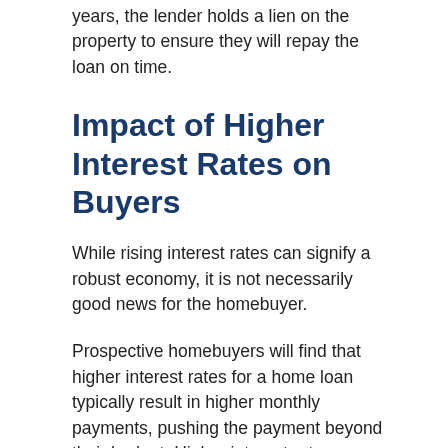years, the lender holds a lien on the property to ensure they will repay the loan on time.
Impact of Higher Interest Rates on Buyers
While rising interest rates can signify a robust economy, it is not necessarily good news for the homebuyer.
Prospective homebuyers will find that higher interest rates for a home loan typically result in higher monthly payments, pushing the payment beyond their budget. Higher interest rates may also mean that buyers will need to look for a home in a lower price range than was initially intended.
Simply stated: higher interest rates translate to higher loan costs and a higher monthly payment for the